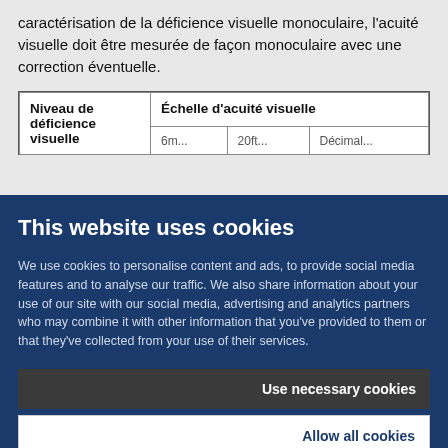caractérisation de la déficience visuelle monoculaire, l'acuité visuelle doit être mesurée de façon monoculaire avec une correction éventuelle.
| Niveau de déficience visuelle | Échelle d'acuité visuelle |  | Décimal |
| --- | --- | --- | --- |
| ... | ... | 20ft... | Décimal... |
This website uses cookies
We use cookies to personalise content and ads, to provide social media features and to analyse our traffic. We also share information about your use of our site with our social media, advertising and analytics partners who may combine it with other information that you've provided to them or that they've collected from your use of their services.
Use necessary cookies
Allow all cookies